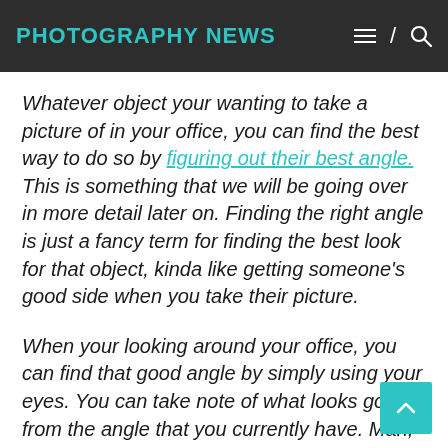PHOTOGRAPHY NEWS
Whatever object your wanting to take a picture of in your office, you can find the best way to do so by figuring out their best angle. This is something that we will be going over in more detail later on. Finding the right angle is just a fancy term for finding the best look for that object, kinda like getting someone's good side when you take their picture.
When your looking around your office, you can find that good angle by simply using your eyes. You can take note of what looks go from the angle that you currently have. Man,